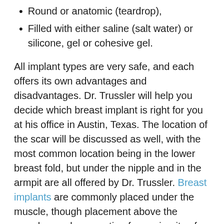Round or anatomic (teardrop),
Filled with either saline (salt water) or silicone, gel or cohesive gel.
All implant types are very safe, and each offers its own advantages and disadvantages. Dr. Trussler will help you decide which breast implant is right for you at his office in Austin, Texas. The location of the scar will be discussed as well, with the most common location being in the lower breast fold, but under the nipple and in the armpit are all offered by Dr. Trussler. Breast implants are commonly placed under the muscle, though placement above the muscle may be an option for a minority of patients.
Before surgery, a small range of breast implant sizes will be selected for the operation. During